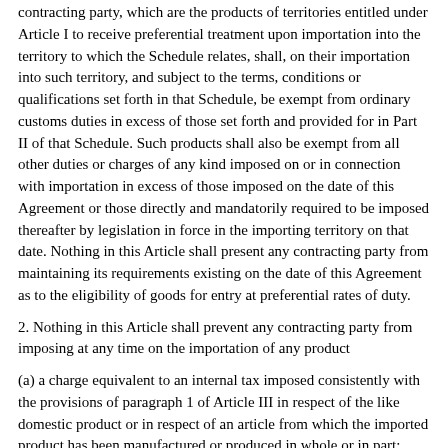contracting party, which are the products of territories entitled under Article I to receive preferential treatment upon importation into the territory to which the Schedule relates, shall, on their importation into such territory, and subject to the terms, conditions or qualifications set forth in that Schedule, be exempt from ordinary customs duties in excess of those set forth and provided for in Part II of that Schedule. Such products shall also be exempt from all other duties or charges of any kind imposed on or in connection with importation in excess of those imposed on the date of this Agreement or those directly and mandatorily required to be imposed thereafter by legislation in force in the importing territory on that date. Nothing in this Article shall present any contracting party from maintaining its requirements existing on the date of this Agreement as to the eligibility of goods for entry at preferential rates of duty.
2. Nothing in this Article shall prevent any contracting party from imposing at any time on the importation of any product
(a) a charge equivalent to an internal tax imposed consistently with the provisions of paragraph 1 of Article III in respect of the like domestic product or in respect of an article from which the imported product has been manufactured or produced in whole or in part;
(b) any anti-dumping or countervailing duty applied consistently